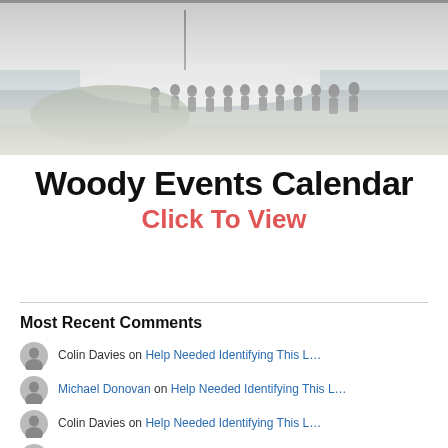[Figure (photo): Black and white historical photo showing a group of people standing near a boat on a grassy shoreline]
Woody Events Calendar
Click To View
Most Recent Comments
Colin Davies on Help Needed Identifying This L…
Michael Donovan on Help Needed Identifying This L…
Colin Davies on Help Needed Identifying This L…
Lindsay McMorran on Help Needed Identifying This L…
KEN RICKETTS on Help Needed Identifying This L…
Don McKirdy on Imatra – Barbados > A…
Mark Lane on Waihou > Ngapuhi